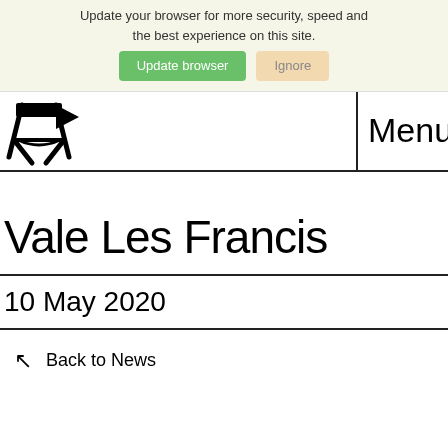Update your browser for more security, speed and the best experience on this site.
Update browser  Ignore
[Figure (logo): Film director chair icon / logo in black]
Menu
Vale Les Francis
10 May 2020
Back to News